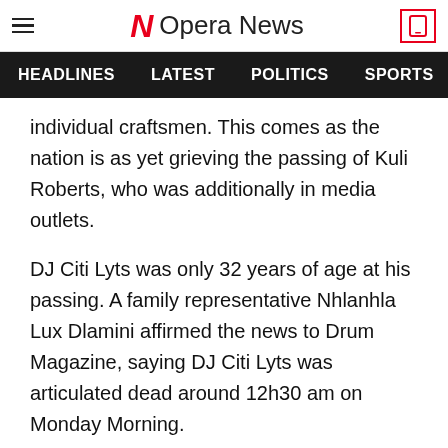Opera News
HEADLINES  LATEST  POLITICS  SPORTS  B
individual craftsmen. This comes as the nation is as yet grieving the passing of Kuli Roberts, who was additionally in media outlets.
DJ Citi Lyts was only 32 years of age at his passing. A family representative Nhlanhla Lux Dlamini affirmed the news to Drum Magazine, saying DJ Citi Lyts was articulated dead around 12h30 am on Monday Morning.
Nhlanhla Lux Dlamini likewise referenced, "four people